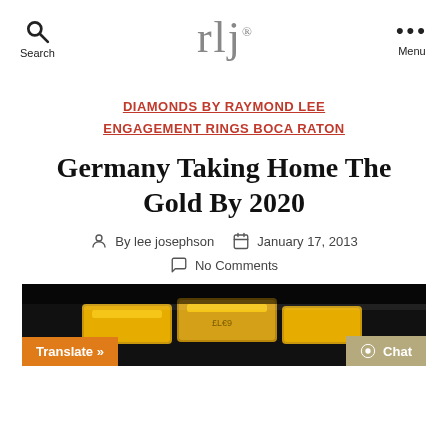rlj® — Search / Menu navigation header
DIAMONDS BY RAYMOND LEE
ENGAGEMENT RINGS BOCA RATON
Germany Taking Home The Gold By 2020
By lee josephson  January 17, 2013  No Comments
[Figure (photo): Gold bars/bullion photo with dark background]